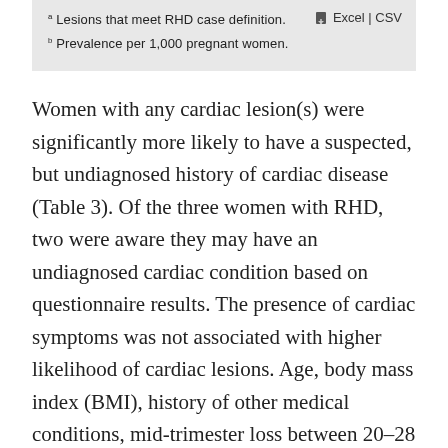a Lesions that meet RHD case definition.
b Prevalence per 1,000 pregnant women.
Women with any cardiac lesion(s) were significantly more likely to have a suspected, but undiagnosed history of cardiac disease (Table 3). Of the three women with RHD, two were aware they may have an undiagnosed cardiac condition based on questionnaire results. The presence of cardiac symptoms was not associated with higher likelihood of cardiac lesions. Age, body mass index (BMI), history of other medical conditions, mid-trimester loss between 20–28 weeks' gestation and vital sign parameters were also not associated with the presence of cardiac lesions.